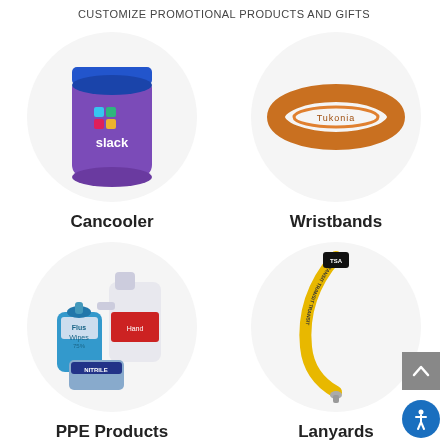CUSTOMIZE PROMOTIONAL PRODUCTS AND GIFTS
[Figure (photo): Can cooler with Slack logo branding]
Cancooler
[Figure (photo): Orange customizable silicone wristband]
Wristbands
[Figure (photo): PPE products including wipes, sanitizer jug, and nitrile gloves]
PPE Products
[Figure (photo): Yellow and black custom lanyard with TSA/TRANSIT branding]
Lanyards